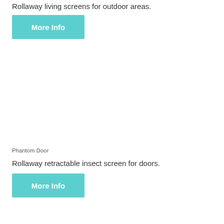Rollaway living screens for outdoor areas.
[Figure (other): Teal/cyan 'More Info' button]
Phantom Door
Rollaway retractable insect screen for doors.
[Figure (other): Teal/cyan 'More Info' button]